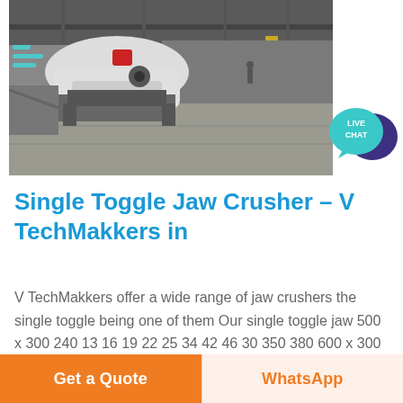[Figure (photo): Industrial facility interior showing heavy machinery (jaw crusher equipment) on a concrete floor with yellow steel columns and industrial ceiling structure in the background.]
Single Toggle Jaw Crusher – V TechMakkers in
V TechMakkers offer a wide range of jaw crushers the single toggle being one of them Our single toggle jaw 500 x 300 240 13 16 19 22 25 34 42 46 30 350 380 600 x 300 240 15 17 1050 x 750 600